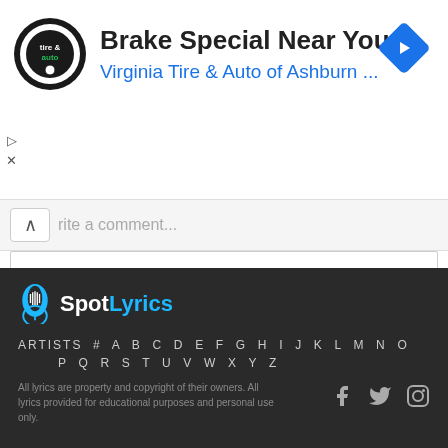[Figure (screenshot): Advertisement banner for Virginia Tire & Auto of Ashburn with logo, heading 'Brake Special Near You', subtitle in blue, and navigation arrow icon]
Write a comment...
SEND
[Figure (logo): SpotLyrics logo with microphone drop icon and blue 'Lyrics' text]
ARTISTS # A B C D E F G H I J K L M N O
P Q R S T U V W X Y Z
All lyrics are property and copyright of their owners. All lyrics provided for educational purposes and personal use only.